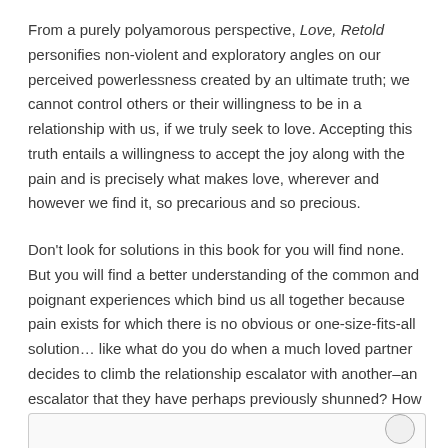From a purely polyamorous perspective, Love, Retold personifies non-violent and exploratory angles on our perceived powerlessness created by an ultimate truth; we cannot control others or their willingness to be in a relationship with us, if we truly seek to love. Accepting this truth entails a willingness to accept the joy along with the pain and is precisely what makes love, wherever and however we find it, so precarious and so precious.
Don't look for solutions in this book for you will find none. But you will find a better understanding of the common and poignant experiences which bind us all together because pain exists for which there is no obvious or one-size-fits-all solution… like what do you do when a much loved partner decides to climb the relationship escalator with another–an escalator that they have perhaps previously shunned? How do you cope when the uncertainty of your relationships is suddenly revealed by fear of loss? Can you reach a mutually satisfactory solution, or must you spiral inwards depending only on supposedly healthy but often lonely tools of self-care?